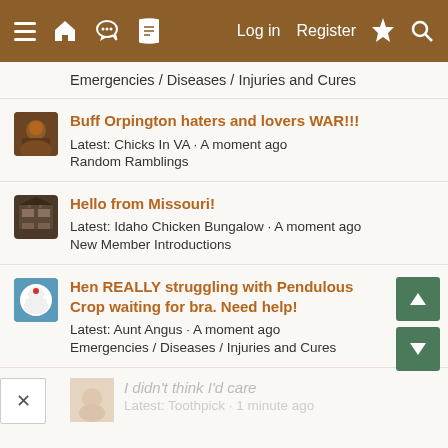≡ 🏠 💬 📄   Log in   Register   ⚡ 🔍
Emergencies / Diseases / Injuries and Cures
Buff Orpington haters and lovers WAR!!!
Latest: Chicks In VA · A moment ago
Random Ramblings
Hello from Missouri!
Latest: Idaho Chicken Bungalow · A moment ago
New Member Introductions
Hen REALLY struggling with Pendulous Crop waiting for bra. Need help!
Latest: Aunt Angus · A moment ago
Emergencies / Diseases / Injuries and Cures
I didn't think I'd care
Latest: Toothpick · 1 minute ago